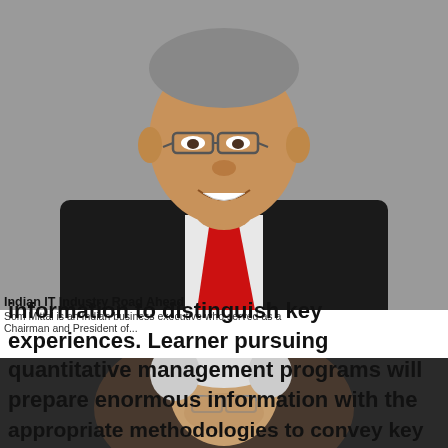[Figure (photo): Portrait of a middle-aged Indian man in a black suit and red tie, smiling, wearing glasses, against a grey background.]
Indian IT Industry Road Ahead
Som Mittal is an Indian business executive who served as a Chairman and President of...
information to distinguish key experiences. Learner pursuing quantitative management programs will prepare enormous information with the appropriate methodologies to convey key
[Figure (photo): Portrait of an elderly person with white/grey hair wearing glasses, against a dark background.]